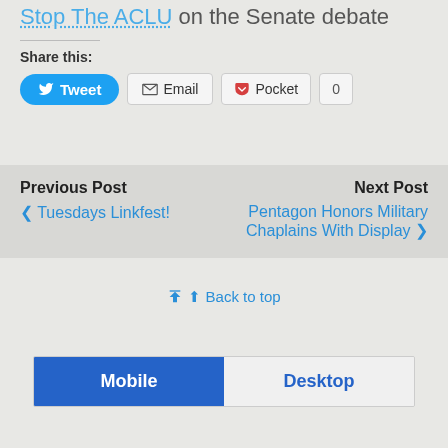Stop The ACLU on the Senate debate
Share this:
[Figure (screenshot): Social share buttons: Tweet (blue rounded), Email (grey bordered), Pocket (grey bordered), and count badge showing 0]
Previous Post
< Tuesdays Linkfest!
Next Post
Pentagon Honors Military Chaplains With Display >
Back to top
[Figure (screenshot): Mobile/Desktop toggle bar with Mobile selected (blue) and Desktop unselected (light grey)]